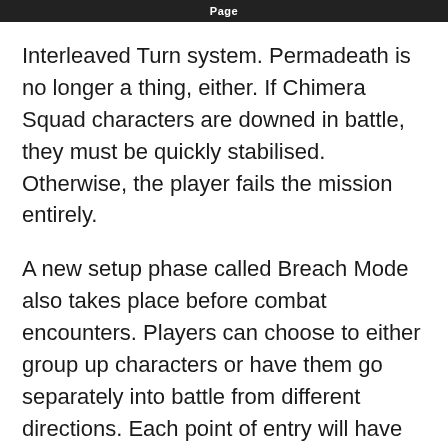Page
Interleaved Turn system. Permadeath is no longer a thing, either. If Chimera Squad characters are downed in battle, they must be quickly stabilised. Otherwise, the player fails the mission entirely.
A new setup phase called Breach Mode also takes place before combat encounters. Players can choose to either group up characters or have them go separately into battle from different directions. Each point of entry will have its own set of advantages and disadvantages, and players will have to be tactical to make the right decisions that might pay off later in battle.
The gameplay trailer dives deeper into the game’s mechanics, but it’s safe to say that XCOM: Chimera